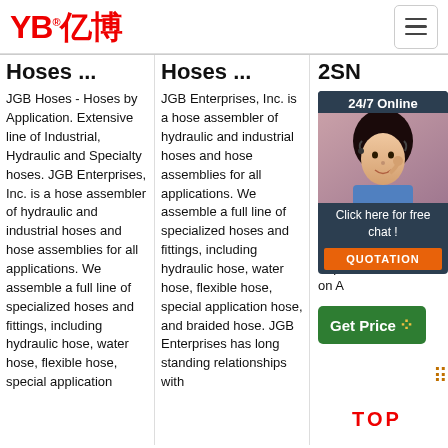[Figure (logo): YB亿博 logo in red with registered trademark symbol and hamburger menu icon]
Hoses ...
JGB Hoses - Hoses by Application. Extensive line of Industrial, Hydraulic and Specialty hoses. JGB Enterprises, Inc. is a hose assembler of hydraulic and industrial hoses and hose assemblies for all applications. We assemble a full line of specialized hoses and fittings, including hydraulic hose, water hose, flexible hose, special application
Hoses ...
JGB Enterprises, Inc. is a hose assembler of hydraulic and industrial hoses and hose assemblies for all applications. We assemble a full line of specialized hoses and fittings, including hydraulic hose, water hose, flexible hose, special application hose, and braided hose. JGB Enterprises has long standing relationships with
2SN
A2 R2A from Hai Tec Ltd. Qua R2A Man Exp on A
[Figure (infographic): 24/7 Online customer service chat popup with photo of woman wearing headset, dark background, 'Click here for free chat!' text, and orange QUOTATION button]
[Figure (infographic): Green Get Price button with decorative dots and TOP label in red below]